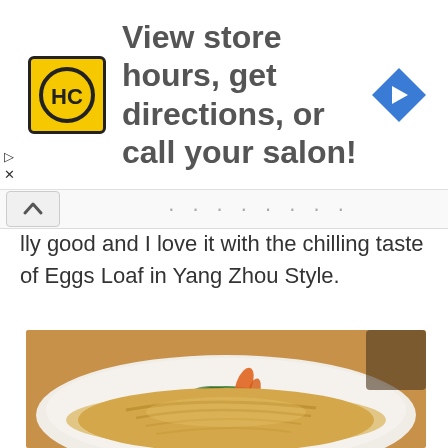[Figure (screenshot): Advertisement banner: HC logo (yellow square with HC text in black circle), text 'View store hours, get directions, or call your salon!', blue diamond navigation icon on right]
lly good and I love it with the chilling taste of Eggs Loaf in Yang Zhou Style.
[Figure (photo): Close-up photo of sliced chicken dish (Yang Zhou style) on a white plate with green herbs and orange carrot garnish, served with golden broth sauce]